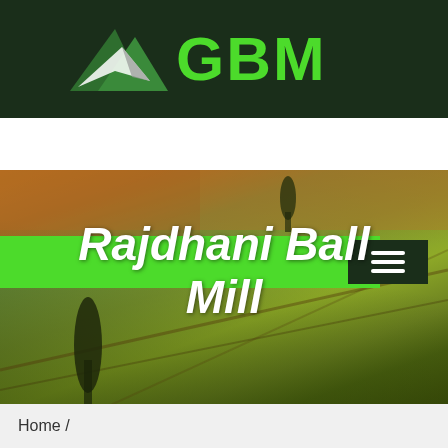[Figure (logo): GBM logo with mountain/arrow graphic in dark green header bar. Mountain silhouette with white/grey arrow shape and green 'GBM' text.]
[Figure (screenshot): Green navigation bar with dark hamburger menu icon and a purple 'LIVE CHAT' speech bubble in the upper right corner.]
[Figure (photo): Aerial photograph of rolling agricultural fields with warm golden-green tones, two tall cypress-like trees visible, and dirt path lines cutting across the landscape.]
Rajdhani Ball Mill
Home /